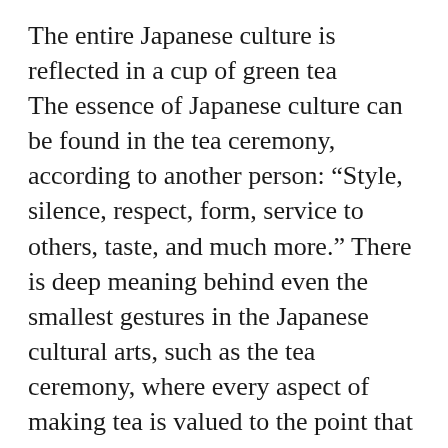The entire Japanese culture is reflected in a cup of green tea
The essence of Japanese culture can be found in the tea ceremony, according to another person: “Style, silence, respect, form, service to others, taste, and much more.” There is deep meaning behind even the smallest gestures in the Japanese cultural arts, such as the tea ceremony, where every aspect of making tea is valued to the point that it must be practiced over and over with the goal of achieving perfection.
Another aesthete reconsidered art and beauty after her experience in Japan. “Beauty in Japan is